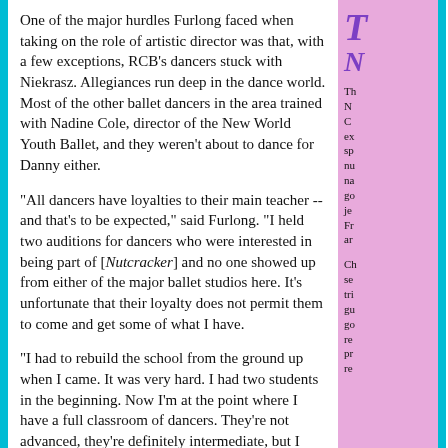One of the major hurdles Furlong faced when taking on the role of artistic director was that, with a few exceptions, RCB's dancers stuck with Niekrasz. Allegiances run deep in the dance world. Most of the other ballet dancers in the area trained with Nadine Cole, director of the New World Youth Ballet, and they weren't about to dance for Danny either.
"All dancers have loyalties to their main teacher -- and that's to be expected," said Furlong. "I held two auditions for dancers who were interested in being part of [Nutcracker] and no one showed up from either of the major ballet studios here. It's unfortunate that their loyalty does not permit them to come and get some of what I have.
"I had to rebuild the school from the ground up when I came. It was very hard. I had two students in the beginning. Now I'm at the point where I have a full classroom of dancers. They're not advanced, they're definitely intermediate, but I have started a lot of people off who never would have started, particularly my men. No man who is 30 years old will feel comfortable in a room full of teenaged girls, but I have a 30-year-old carpenter who feels comfortable, because there are
T
N
Th N C ex sp nu na go je Fr ar
Ch se tri gu go re pr re